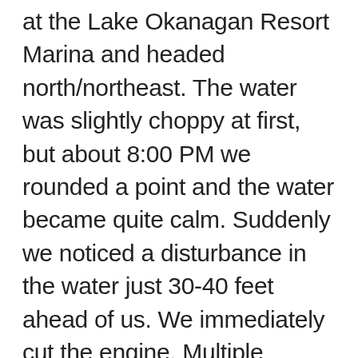at the Lake Okanagan Resort Marina and headed north/northeast. The water was slightly choppy at first, but about 8:00 PM we rounded a point and the water became quite calm. Suddenly we noticed a disturbance in the water just 30-40 feet ahead of us. We immediately cut the engine. Multiple humps (certainly three but perhaps four) were clearly seen protruding slightly out of the water. They were slightly darker than the surrounding water.  These bumps began moving straight away from us at high speed and submerging, leaving a substantial wake. The wake was